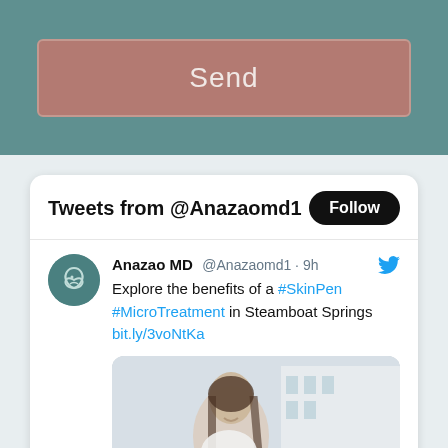[Figure (screenshot): Send button with rose/mauve background on teal panel]
[Figure (screenshot): Twitter widget showing Tweets from @Anazaomd1 with Follow button, tweet by Anazao MD about SkinPen MicroTreatment in Steamboat Springs with image of young woman sitting outdoors]